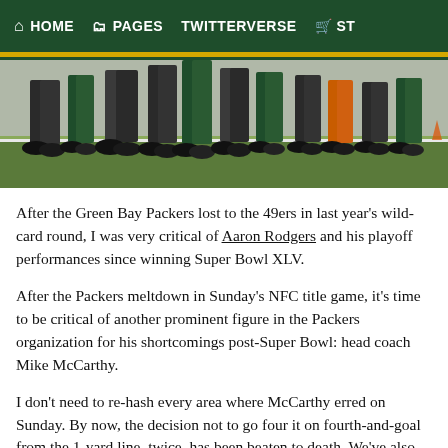HOME   PAGES   TWITTERVERSE   ST
[Figure (photo): Photo of feet and legs of people (coaches/players) standing on a football field sideline, wearing green and dark pants with athletic shoes.]
After the Green Bay Packers lost to the 49ers in last year's wild-card round, I was very critical of Aaron Rodgers and his playoff performances since winning Super Bowl XLV.
After the Packers meltdown in Sunday's NFC title game, it's time to be critical of another prominent figure in the Packers organization for his shortcomings post-Super Bowl: head coach Mike McCarthy.
I don't need to re-hash every area where McCarthy erred on Sunday. By now, the decision not to go four it on fourth-and-goal from the 1-yard line, twice, has been beaten to death. We've also lamented McCarthy's conservative playcalling in the second half repeatedly.